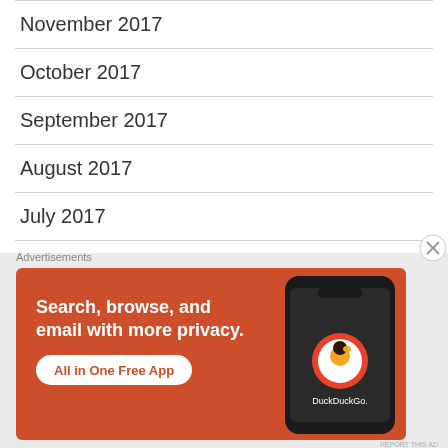November 2017
October 2017
September 2017
August 2017
July 2017
June 2017
May 2017
April 2017
Advertisements
[Figure (illustration): DuckDuckGo advertisement banner showing a phone with text: Search, browse, and email with more privacy. All in One Free App. DuckDuckGo.]